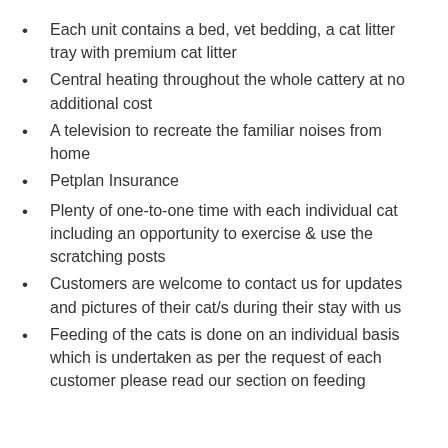Each unit contains a bed, vet bedding, a cat litter tray with premium cat litter
Central heating throughout the whole cattery at no additional cost
A television to recreate the familiar noises from home
Petplan Insurance
Plenty of one-to-one time with each individual cat including an opportunity to exercise & use the scratching posts
Customers are welcome to contact us for updates and pictures of their cat/s during their stay with us
Feeding of the cats is done on an individual basis which is undertaken as per the request of each customer please read our section on feeding